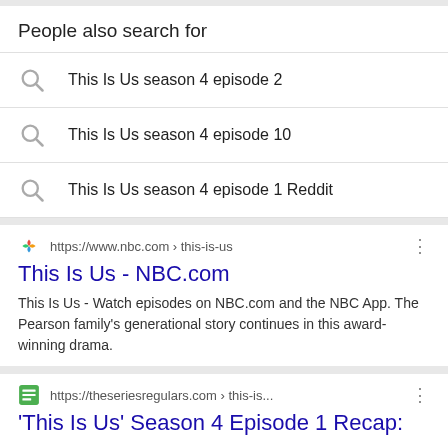People also search for
This Is Us season 4 episode 2
This Is Us season 4 episode 10
This Is Us season 4 episode 1 Reddit
https://www.nbc.com › this-is-us
This Is Us - NBC.com
This Is Us - Watch episodes on NBC.com and the NBC App. The Pearson family's generational story continues in this award-winning drama.
https://theseriesregulars.com › this-is...
'This Is Us' Season 4 Episode 1 Recap: